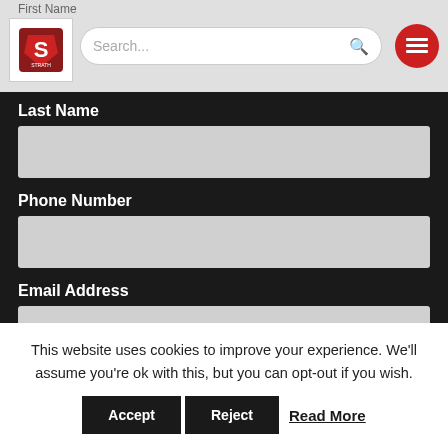First Name
[Figure (screenshot): Navigation bar with logo (S shield icon), search bar with magnifying glass icon, and red circular hamburger menu button]
Last Name
Phone Number
Email Address
[Figure (other): reCAPTCHA widget with checkbox, 'I'm not a robot' text, reCAPTCHA logo, and Privacy/Terms links]
This website uses cookies to improve your experience. We'll assume you're ok with this, but you can opt-out if you wish.
Accept  Reject  Read More